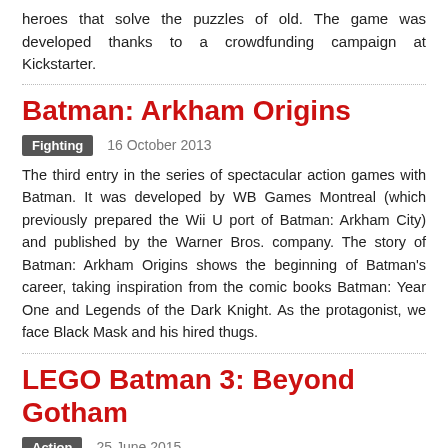heroes that solve the puzzles of old. The game was developed thanks to a crowdfunding campaign at Kickstarter.
Batman: Arkham Origins
Fighting   16 October 2013
The third entry in the series of spectacular action games with Batman. It was developed by WB Games Montreal (which previously prepared the Wii U port of Batman: Arkham City) and published by the Warner Bros. company. The story of Batman: Arkham Origins shows the beginning of Batman's career, taking inspiration from the comic books Batman: Year One and Legends of the Dark Knight. As the protagonist, we face Black Mask and his hired thugs.
LEGO Batman 3: Beyond Gotham
Action   25 June 2015
Another installment in the popular arcade game series from the LEGO brand. It is also the third game depicting the adventures of the legendary hero from the DC universe. It was developed by Traveller's Tales developer from an engine at TT...